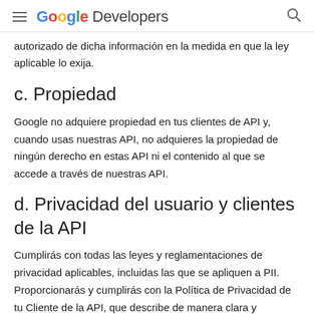Google Developers
autorizado de dicha información en la medida en que la ley aplicable lo exija.
c. Propiedad
Google no adquiere propiedad en tus clientes de API y, cuando usas nuestras API, no adquieres la propiedad de ningún derecho en estas API ni el contenido al que se accede a través de nuestras API.
d. Privacidad del usuario y clientes de la API
Cumplirás con todas las leyes y reglamentaciones de privacidad aplicables, incluidas las que se apliquen a PII. Proporcionarás y cumplirás con la Política de Privacidad de tu Cliente de la API, que describe de manera clara y